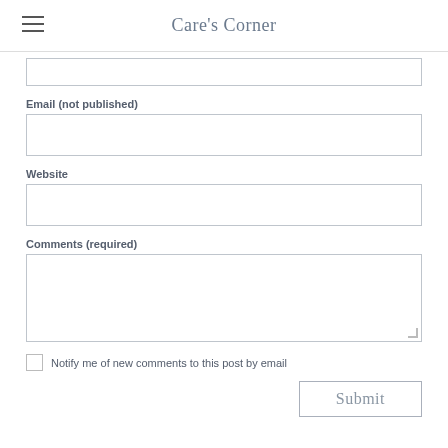Care's Corner
[Figure (other): Partially visible text input field (top of form, cut off)]
Email (not published)
[Figure (other): Email input text field]
Website
[Figure (other): Website input text field]
Comments (required)
[Figure (other): Comments textarea field]
Notify me of new comments to this post by email
[Figure (other): Submit button]